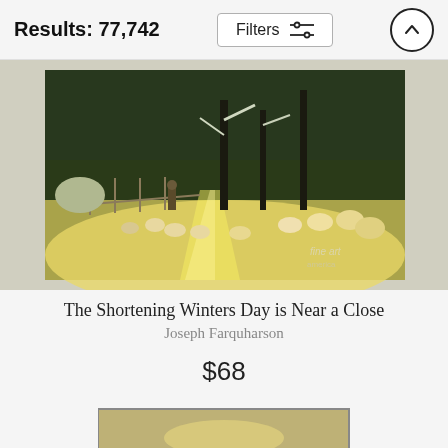Results: 77,742
Filters
[Figure (photo): Painting of sheep in a snowy winter landscape with golden light rays, trees in background, shepherd with flock. Title: The Shortening Winters Day is Near a Close by Joseph Farquharson.]
The Shortening Winters Day is Near a Close
Joseph Farquharson
$68
[Figure (photo): Partial view of a second painting at the bottom of the page, showing a similar winter/atmospheric scene.]